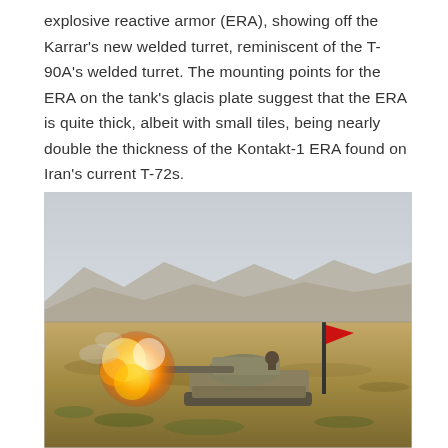explosive reactive armor (ERA), showing off the Karrar's new welded turret, reminiscent of the T-90A's welded turret. The mounting points for the ERA on the tank's glacis plate suggest that the ERA is quite thick, albeit with small tiles, being nearly double the thickness of the Kontakt-1 ERA found on Iran's current T-72s.
[Figure (photo): A tank (Karrar) firing its main gun in an open desert/steppe landscape with mountains in the background. A large muzzle flash fireball is visible at the gun barrel. A red flag on a pole is visible to the right of the tank. The scene appears to be a military demonstration or exercise.]